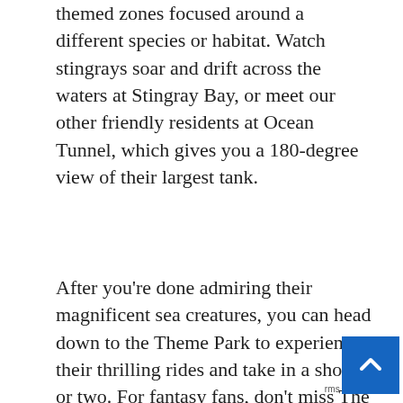themed zones focused around a different species or habitat. Watch stingrays soar and drift across the waters at Stingray Bay, or meet our other friendly residents at Ocean Tunnel, which gives you a 180-degree view of their largest tank.
After you're done admiring their magnificent sea creatures, you can head down to the Theme Park to experience their thrilling rides and take in a show or two. For fantasy fans, don't miss The Dragon at LEGO® Kingdoms, a rollercoaster that will take you into the dark and mysterious depths of the castle. If you're more of a fan of dinosaurs than dragons, then visit Dino Island over at the Land of Adventure to try out the wettest ride in the park. If you haven't gotten enough of the water, though, then most over to the Water Park to enjoy Legoland's colourful water slides and rides.